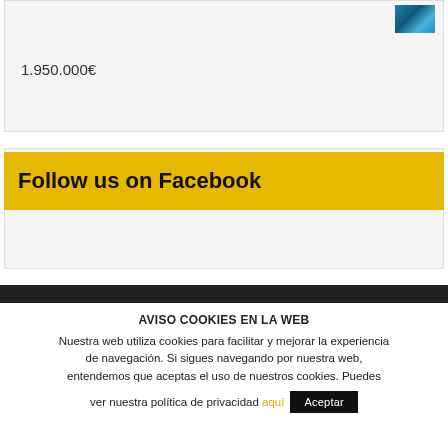[Figure (photo): Small thumbnail photo of underwater/ocean scene in top right of card]
1.950.000€
Follow us on Facebook
AVISO COOKIES EN LA WEB
Nuestra web utiliza cookies para facilitar y mejorar la experiencia de navegación. Si sigues navegando por nuestra web, entendemos que aceptas el uso de nuestros cookies. Puedes ver nuestra política de privacidad aquí
Aceptar